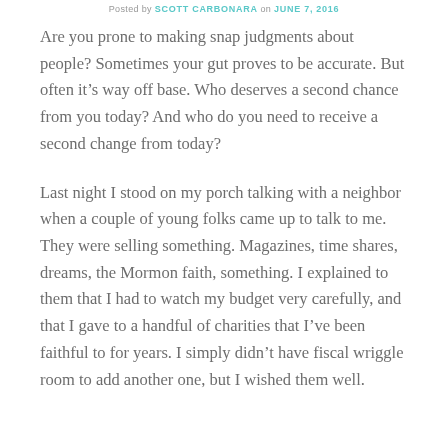Posted by SCOTT CARBONARA on JUNE 7, 2016
Are you prone to making snap judgments about people? Sometimes your gut proves to be accurate. But often it’s way off base. Who deserves a second chance from you today? And who do you need to receive a second change from today?
Last night I stood on my porch talking with a neighbor when a couple of young folks came up to talk to me. They were selling something. Magazines, time shares, dreams, the Mormon faith, something. I explained to them that I had to watch my budget very carefully, and that I gave to a handful of charities that I’ve been faithful to for years. I simply didn’t have fiscal wriggle room to add another one, but I wished them well.